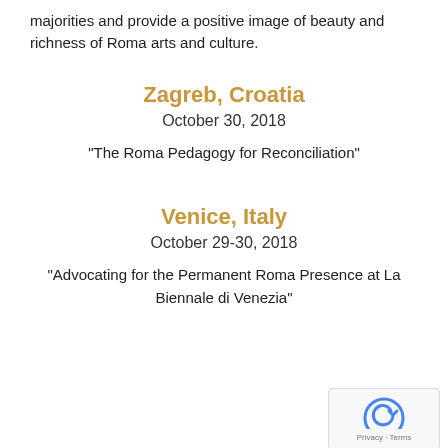majorities and provide a positive image of beauty and richness of Roma arts and culture.
Zagreb, Croatia
October 30, 2018
“The Roma Pedagogy for Reconciliation”
Venice, Italy
October 29-30, 2018
“Advocating for the Permanent Roma Presence at La Biennale di Venezia”